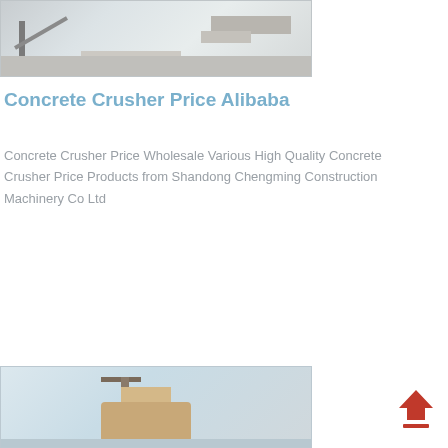[Figure (photo): Construction machinery / concrete crusher equipment at a worksite, showing crane arm and stone/concrete blocks, muted grayscale tones]
Concrete Crusher Price Alibaba
Concrete Crusher Price Wholesale Various High Quality Concrete Crusher Price Products from Shandong Chengming Construction Machinery Co Ltd
[Figure (photo): Construction machinery scene at a worksite with orange/brown equipment, structures and scaffolding visible, light blue-gray tones at bottom of page]